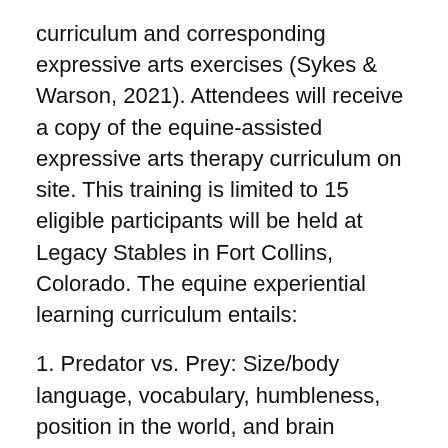curriculum and corresponding expressive arts exercises (Sykes & Warson, 2021). Attendees will receive a copy of the equine-assisted expressive arts therapy curriculum on site. This training is limited to 15 eligible participants will be held at Legacy Stables in Fort Collins, Colorado. The equine experiential learning curriculum entails:
1. Predator vs. Prey: Size/body language, vocabulary, humbleness, position in the world, and brain functioning
2. Dependency / Yours/ Theirs: Expectations of roles and importance of self vs. others
3. Work Together / Non-aggressive: How-when to move to control
4. Mean It / Don't Be Mean / Set Limits: Healthy limits, safety vs. need vs. want